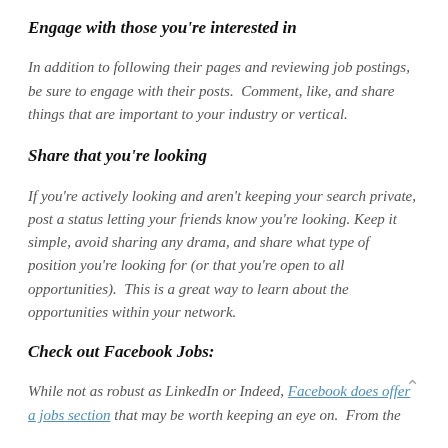Engage with those you're interested in
In addition to following their pages and reviewing job postings, be sure to engage with their posts.  Comment, like, and share things that are important to your industry or vertical.
Share that you're looking
If you're actively looking and aren't keeping your search private, post a status letting your friends know you're looking.  Keep it simple, avoid sharing any drama, and share what type of position you're looking for (or that you're open to all opportunities).  This is a great way to learn about the opportunities within your network.
Check out Facebook Jobs:
While not as robust as LinkedIn or Indeed, Facebook does offer a jobs section that may be worth keeping an eye on.  From the